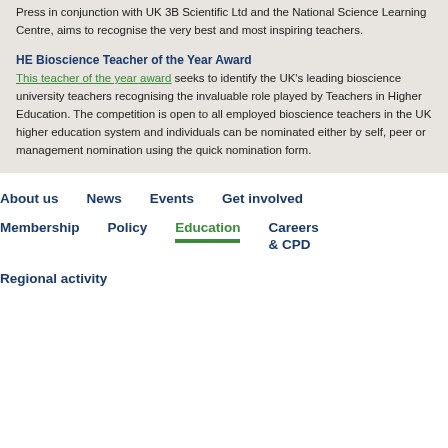Press in conjunction with UK 3B Scientific Ltd and the National Science Learning Centre, aims to recognise the very best and most inspiring teachers.
HE Bioscience Teacher of the Year Award
This teacher of the year award seeks to identify the UK's leading bioscience university teachers recognising the invaluable role played by Teachers in Higher Education. The competition is open to all employed bioscience teachers in the UK higher education system and individuals can be nominated either by self, peer or management nomination using the quick nomination form.
About us
News
Events
Get involved
Membership
Policy
Education
Careers & CPD
Regional activity